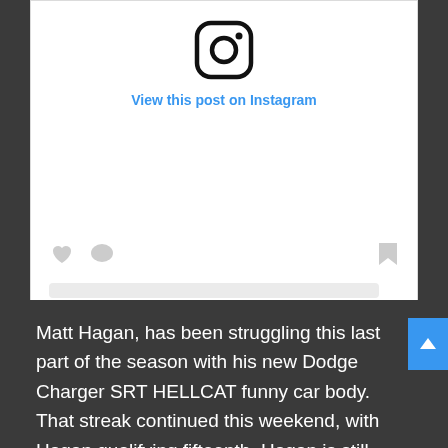[Figure (screenshot): Instagram embed widget showing Instagram logo icon at top, 'View this post on Instagram' link in blue, social action icons (heart, bubble, bookmark), skeleton loading lines, and attribution text 'A post shared by Matt Hagan (@matthagan_fc)']
Matt Hagan, has been struggling this last part of the season with his new Dodge Charger SRT HELLCAT funny car body. That streak continued this weekend, with Hagan qualifying fifteenth. Hagan is still seventh in